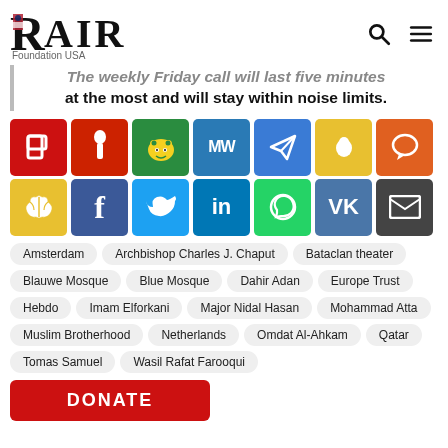RAIR Foundation USA
The weekly Friday call will last five minutes at the most and will stay within noise limits.
[Figure (infographic): Social media sharing icons grid: Parler, MeWe(?), Gab, MW, Telegram, Clouthub, Chat; Brain/Minds, Facebook, Twitter, LinkedIn, WhatsApp, VK, Email]
Amsterdam
Archbishop Charles J. Chaput
Bataclan theater
Blauwe Mosque
Blue Mosque
Dahir Adan
Europe Trust
Hebdo
Imam Elforkani
Major Nidal Hasan
Mohammad Atta
Muslim Brotherhood
Netherlands
Omdat Al-Ahkam
Qatar
Tomas Samuel
Wasil Rafat Farooqui
DONATE